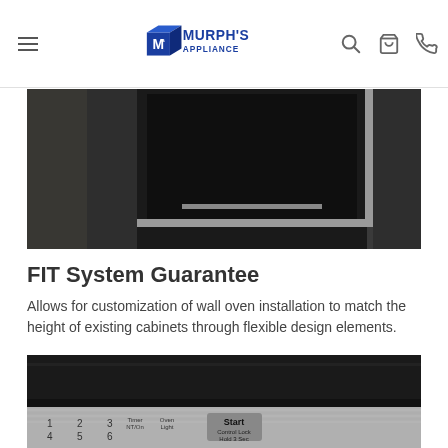Murph's Appliance — navigation header with logo, search, cart, and phone icons
[Figure (photo): Close-up photo of a dark/black built-in wall oven installed flush with dark cabinetry, showing stainless steel trim detail]
FIT System Guarantee
Allows for customization of wall oven installation to match the height of existing cabinets through flexible design elements.
[Figure (photo): Close-up photo of a wall oven control panel with black glass top, stainless steel trim, and numbered keypad buttons including Timer, Oven Light, and Start/Control Lock buttons]